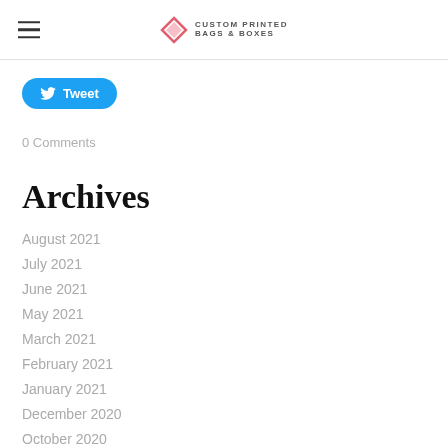Custom Printed Bags & Boxes
[Figure (other): Tweet button with Twitter bird icon]
0 Comments
Archives
August 2021
July 2021
June 2021
May 2021
March 2021
February 2021
January 2021
December 2020
October 2020
September 2020
August 2020